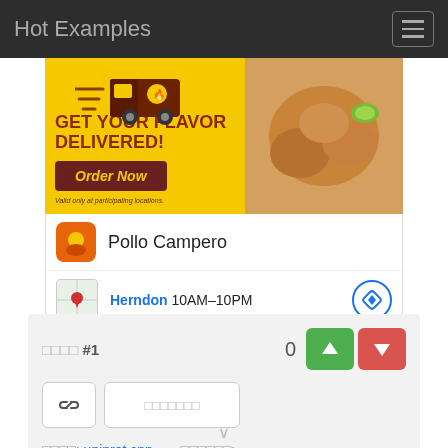Hot Examples
[Figure (screenshot): Pollo Campero advertisement banner: yellow background with food delivery truck, text 'GET YOUR FLAVOR DELIVERED!', 'Order Now' button, 'Valid only at participating locations.', fried chicken photo]
Pollo Campero
Pollo Campero
Herndon 10AM–10PM
□□□□ #1   0
□□□□: uniprot.cpp   □□□□□□: johnadouglas/variationtoolkit